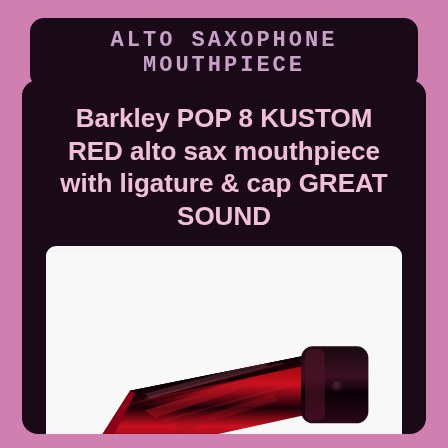ALTO SAXOPHONE MOUTHPIECE
Barkley POP 8 KUSTOM RED alto sax mouthpiece with ligature & cap GREAT SOUND
[Figure (photo): A red and black Barkley POP 8 KUSTOM alto saxophone mouthpiece shown at an angle on a white background]